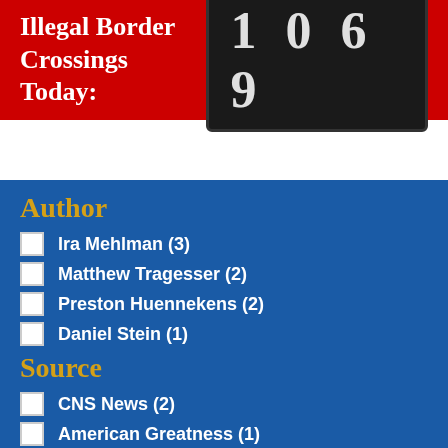Illegal Border Crossings Today: 1069
Author
Ira Mehlman (3)
Matthew Tragesser (2)
Preston Huennekens (2)
Daniel Stein (1)
Source
CNS News (2)
American Greatness (1)
Daily Caller (9)
Issue